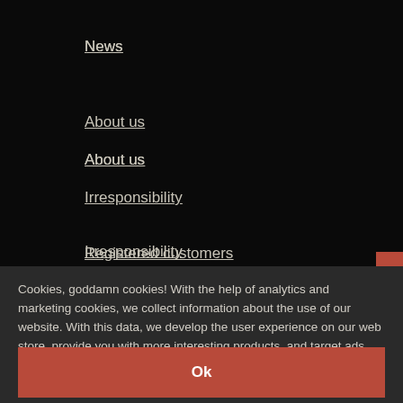News
About us
Irresponsibility
Registered customers
Varusteleka banners
Cookies, goddamn cookies! With the help of analytics and marketing cookies, we collect information about the use of our website. With this data, we develop the user experience on our web store, provide you with more interesting products, and target ads. Read more about the cookies and check out our Privacy Notice.
Ok